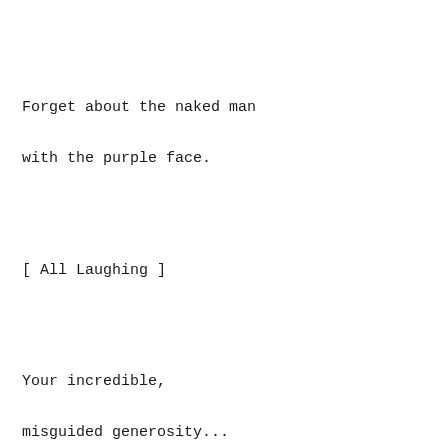Forget about the naked man

with the purple face.
[ All Laughing ]
Your incredible,

misguided generosity...